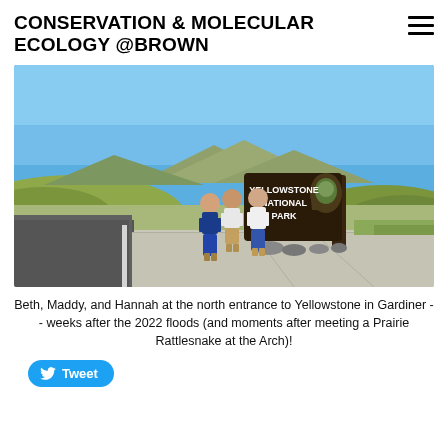CONSERVATION & MOLECULAR ECOLOGY @BROWN
[Figure (photo): Three people (Beth, Maddy, and Hannah) standing in front of the Yellowstone National Park entrance sign. Blue sky and mountains in the background, open landscape with hills and sparse vegetation.]
Beth, Maddy, and Hannah at the north entrance to Yellowstone in Gardiner -- weeks after the 2022 floods (and moments after meeting a Prairie Rattlesnake at the Arch)!
Tweet